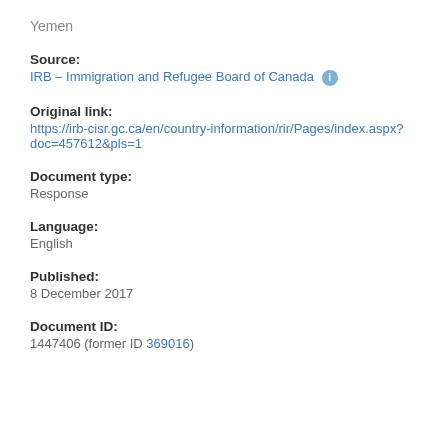Yemen
Source: IRB – Immigration and Refugee Board of Canada
Original link: https://irb-cisr.gc.ca/en/country-information/rir/Pages/index.aspx?doc=457612&pls=1
Document type: Response
Language: English
Published: 8 December 2017
Document ID: 1447406 (former ID 369016)